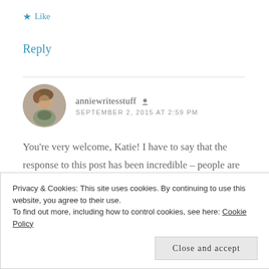★ Like
Reply
anniewritesstuff 👤
SEPTEMBER 2, 2015 AT 2:59 PM
You're very welcome, Katie! I have to say that the response to this post has been incredible – people are obviously all sharing similar feelings, which is actually rather heartening.
Privacy & Cookies: This site uses cookies. By continuing to use this website, you agree to their use.
To find out more, including how to control cookies, see here: Cookie Policy
Close and accept